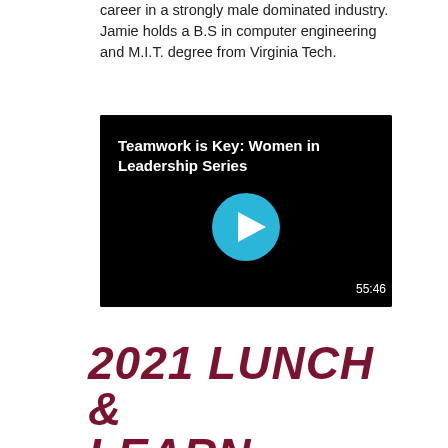career in a strongly male dominated industry. Jamie holds a B.S in computer engineering and M.I.T. degree from Virginia Tech.
[Figure (screenshot): Video thumbnail with black background showing title 'Teamwork is Key: Women in Leadership Series' in white bold text, a cyan/blue circular play button in the center, and timestamp '55:46' in the bottom right corner.]
2021 LUNCH & LEARN